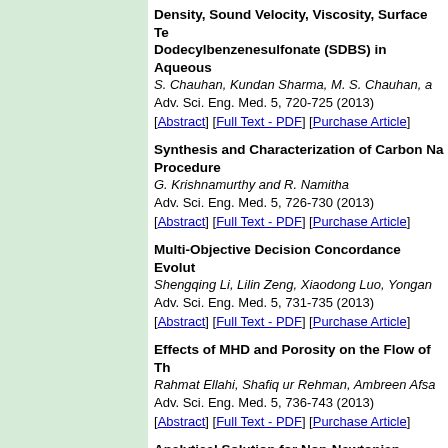Density, Sound Velocity, Viscosity, Surface Te... Dodecylbenzenesulfonate (SDBS) in Aqueous... S. Chauhan, Kundan Sharma, M. S. Chauhan, a... Adv. Sci. Eng. Med. 5, 720-725 (2013) [Abstract] [Full Text - PDF] [Purchase Article]
Synthesis and Characterization of Carbon Na... Procedure G. Krishnamurthy and R. Namitha Adv. Sci. Eng. Med. 5, 726-730 (2013) [Abstract] [Full Text - PDF] [Purchase Article]
Multi-Objective Decision Concordance Evolut... Shengqing Li, Lilin Zeng, Xiaodong Luo, Yongan... Adv. Sci. Eng. Med. 5, 731-735 (2013) [Abstract] [Full Text - PDF] [Purchase Article]
Effects of MHD and Porosity on the Flow of Th... Rahmat Ellahi, Shafiq ur Rehman, Ambreen Afsa... Adv. Sci. Eng. Med. 5, 736-743 (2013) [Abstract] [Full Text - PDF] [Purchase Article]
Analytical Solution for Non-Newtonian Nanofl... by Means of Optimal Homotopic Asymptotic M... Rahmat Ellahi, Mohsan Hassan, Ambreen Afsar ... Adv. Sci. Eng. Med. 5, 744-751 (2013) [Abstract] [Full Text - PDF] [Purchase Article]
H-Infinity Fuzzy Sliding Parallel Distributed Co... Yi-Jen Mon Adv. Sci. Eng. Med. 5, 752-755 (2013) [Abstract] [Full Text - PDF] [Purchase Article]